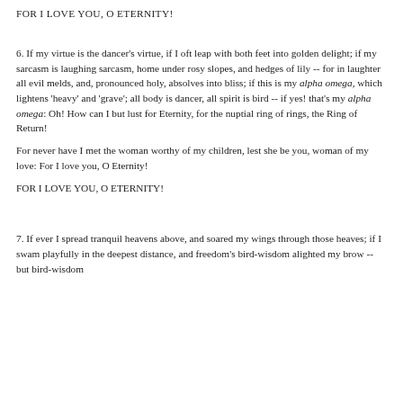FOR I LOVE YOU, O ETERNITY!
6. If my virtue is the dancer's virtue, if I oft leap with both feet into golden delight; if my sarcasm is laughing sarcasm, home under rosy slopes, and hedges of lily -- for in laughter all evil melds, and, pronounced holy, absolves into bliss; if this is my alpha omega, which lightens 'heavy' and 'grave'; all body is dancer, all spirit is bird -- if yes! that's my alpha omega: Oh! How can I but lust for Eternity, for the nuptial ring of rings, the Ring of Return!
For never have I met the woman worthy of my children, lest she be you, woman of my love: For I love you, O Eternity!
FOR I LOVE YOU, O ETERNITY!
7. If ever I spread tranquil heavens above, and soared my wings through those heaves; if I swam playfully in the deepest distance, and freedom's bird-wisdom alighted my brow -- but bird-wisdom speaks: "Behold, there is no above and below! Throw yourself to...